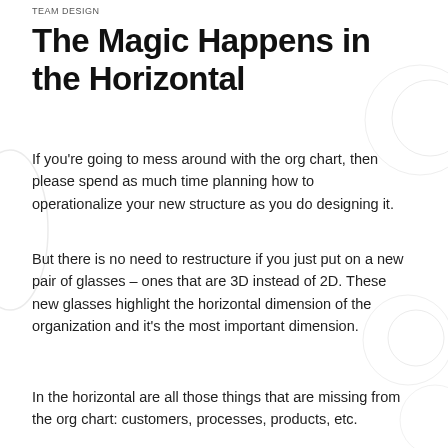TEAM DESIGN
The Magic Happens in the Horizontal
If you're going to mess around with the org chart, then please spend as much time planning how to operationalize your new structure as you do designing it.
But there is no need to restructure if you just put on a new pair of glasses – ones that are 3D instead of 2D. These new glasses highlight the horizontal dimension of the organization and it's the most important dimension.
In the horizontal are all those things that are missing from the org chart: customers, processes, products, etc.